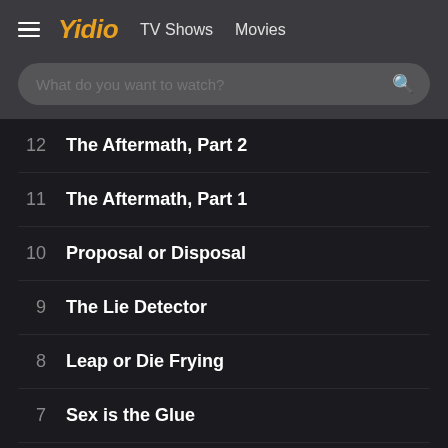≡ Yidio  TV Shows  Movies
What do you want to watch?
12  The Aftermath, Part 2
11  The Aftermath, Part 1
10  Proposal or Disposal
9  The Lie Detector
8  Leap or Die Frying
7  Sex is the Glue
6  Spouse Swap